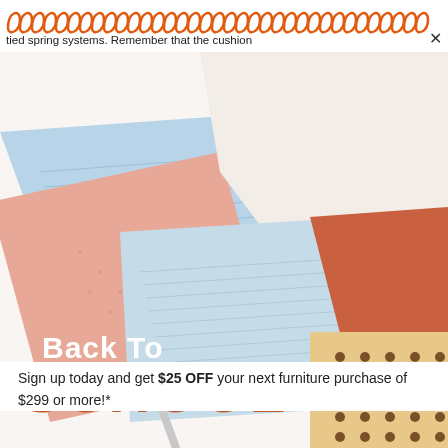tied spring systems. Remember that the cushion
[Figure (illustration): Back to school promotional image showing colorful notebooks/folders in pastel colors (light blue, pink, peach, tan with polka dots, terracotta) arranged overlapping on a white background. Text overlaid: 'Back To SCHOOL'. Below the image: 'Sign up today and get $25 OFF your next furniture purchase of $299 or more!*']
Sign up today and get $25 OFF your next furniture purchase of $299 or more!*